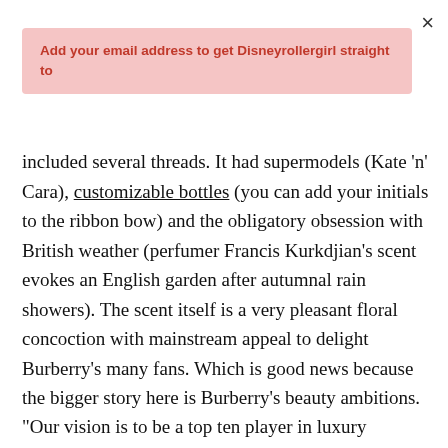Add your email address to get Disneyrollergirl straight to
included several threads. It had supermodels (Kate 'n' Cara), customizable bottles (you can add your initials to the ribbon bow) and the obligatory obsession with British weather (perfumer Francis Kurkdjian's scent evokes an English garden after autumnal rain showers). The scent itself is a very pleasant floral concoction with mainstream appeal to delight Burberry's many fans. Which is good news because the bigger story here is Burberry's beauty ambitions. "Our vision is to be a top ten player in luxury fragrance," says Chief Operating Officer, John Smith.